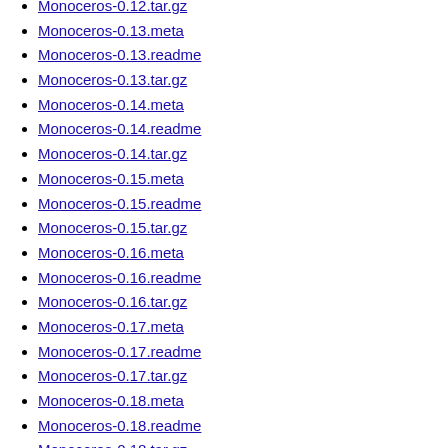Monoceros-0.12.tar.gz
Monoceros-0.13.meta
Monoceros-0.13.readme
Monoceros-0.13.tar.gz
Monoceros-0.14.meta
Monoceros-0.14.readme
Monoceros-0.14.tar.gz
Monoceros-0.15.meta
Monoceros-0.15.readme
Monoceros-0.15.tar.gz
Monoceros-0.16.meta
Monoceros-0.16.readme
Monoceros-0.16.tar.gz
Monoceros-0.17.meta
Monoceros-0.17.readme
Monoceros-0.17.tar.gz
Monoceros-0.18.meta
Monoceros-0.18.readme
Monoceros-0.18.tar.gz
Monoceros-0.19.meta
Monoceros-0.19.readme
Monoceros-0.19.tar.gz
Monoceros-0.20-TRIAL.tar.gz
Monoceros-0.21-TRIAL.tar.gz
Monoceros-0.22-TRIAL.tar.gz
Monoceros-0.23...